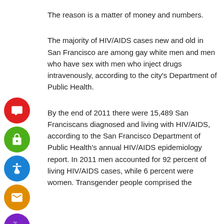The reason is a matter of money and numbers.
The majority of HIV/AIDS cases new and old in San Francisco are among gay white men and men who have sex with men who inject drugs intravenously, according to the city’s Department of Public Health.
By the end of 2011 there were 15,489 San Franciscans diagnosed and living with HIV/AIDS, according to the San Francisco Department of Public Health’s annual HIV/AIDS epidemiology report. In 2011 men accounted for 92 percent of living HIV/AIDS cases, while 6 percent were women. Transgender people comprised the